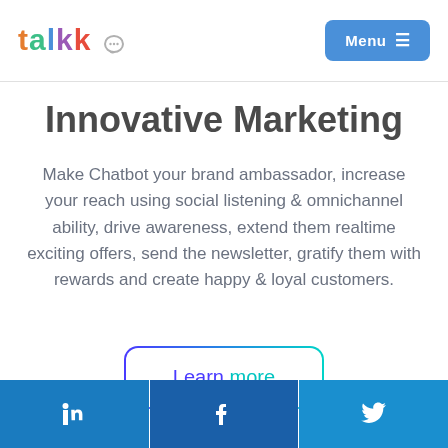talkk | Menu
Innovative Marketing
Make Chatbot your brand ambassador, increase your reach using social listening & omnichannel ability, drive awareness, extend them realtime exciting offers, send the newsletter, gratify them with rewards and create happy & loyal customers.
Learn more
Features
LinkedIn | Facebook | Twitter